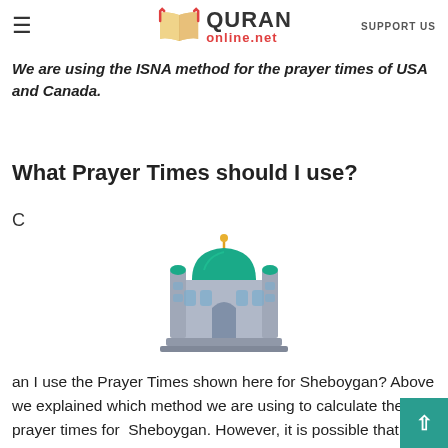≡   QURAN online.net   SUPPORT US
We are using the ISNA method for the prayer times of USA and Canada.
What Prayer Times should I use?
C
[Figure (illustration): Mosque emoji illustration with green dome and gold finial]
an I use the Prayer Times shown here for Sheboygan? Above we explained which method we are using to calculate the prayer times for  Sheboygan. However, it is possible that your local mosque uses different principles. If this is the case, we recommend you to follow the prayer times of your local mosque. At the same time, we would greatly appreciate it if you